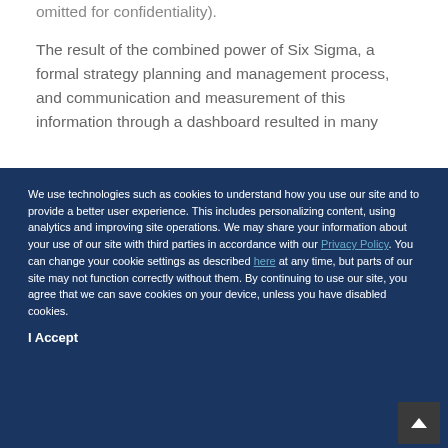omitted for confidentiality).
The result of the combined power of Six Sigma, a formal strategy planning and management process, and communication and measurement of this information through a dashboard resulted in many
We use technologies such as cookies to understand how you use our site and to provide a better user experience. This includes personalizing content, using analytics and improving site operations. We may share your information about your use of our site with third parties in accordance with our Privacy Policy. You can change your cookie settings as described here at any time, but parts of our site may not function correctly without them. By continuing to use our site, you agree that we can save cookies on your device, unless you have disabled cookies.
I Accept